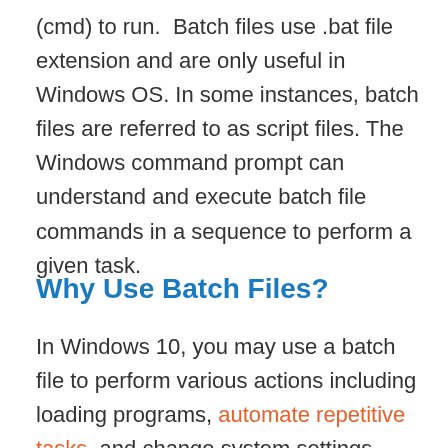(cmd) to run.  Batch files use .bat file extension and are only useful in Windows OS. In some instances, batch files are referred to as script files. The Windows command prompt can understand and execute batch file commands in a sequence to perform a given task.
Why Use Batch Files?
In Windows 10, you may use a batch file to perform various actions including loading programs, automate repetitive tasks, and change system settings among others. While